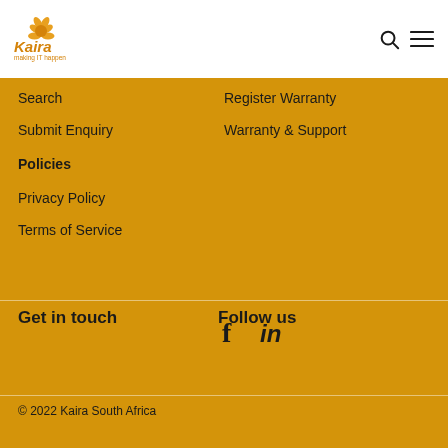[Figure (logo): Kaira logo with orange star/flower icon and text 'Kaira making IT happen' in orange]
Search
Register Warranty
Submit Enquiry
Warranty & Support
Policies
Privacy Policy
Terms of Service
Get in touch
Follow us
[Figure (illustration): Facebook and LinkedIn social media icons]
© 2022 Kaira South Africa